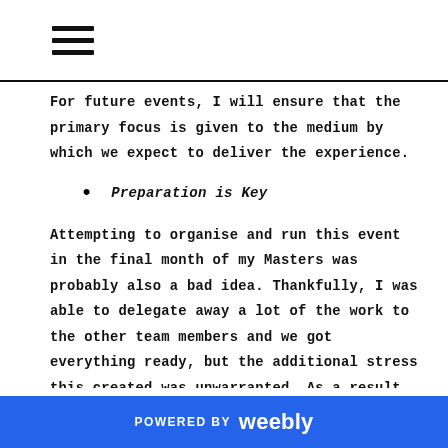☰
For future events, I will ensure that the primary focus is given to the medium by which we expect to deliver the experience.
Preparation is Key
Attempting to organise and run this event in the final month of my Masters was probably also a bad idea. Thankfully, I was able to delegate away a lot of the work to the other team members and we got everything ready, but the additional stress this created was unwarranted. As a result
POWERED BY weebly